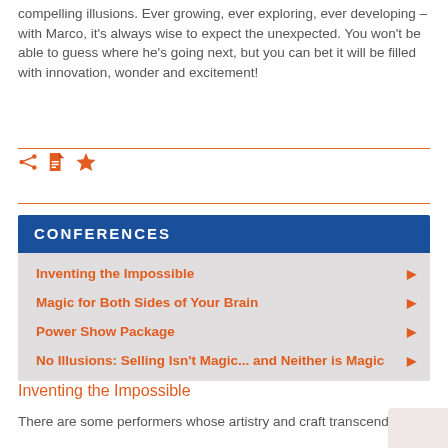compelling illusions. Ever growing, ever exploring, ever developing – with Marco, it's always wise to expect the unexpected. You won't be able to guess where he's going next, but you can bet it will be filled with innovation, wonder and excitement!
[Figure (infographic): Share, document, and star/favorite icons in orange color]
CONFERENCES
Inventing the Impossible
Magic for Both Sides of Your Brain
Power Show Package
No Illusions: Selling Isn't Magic... and Neither is Magic
Inventing the Impossible
There are some performers whose artistry and craft transcend their genre, inspiring the imaginations of millions. Ma...